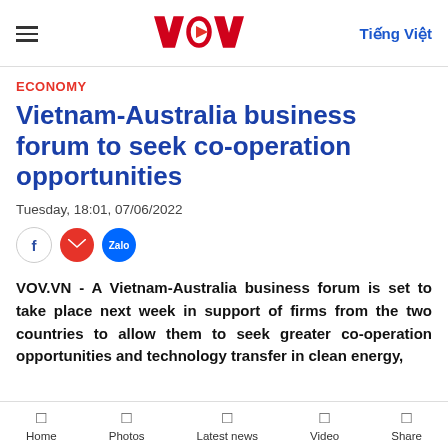VOV — Tiếng Việt
ECONOMY
Vietnam-Australia business forum to seek co-operation opportunities
Tuesday, 18:01, 07/06/2022
[Figure (other): Social share icons: Facebook, Email, Zalo]
VOV.VN - A Vietnam-Australia business forum is set to take place next week in support of firms from the two countries to allow them to seek greater co-operation opportunities and technology transfer in clean energy,
Home   Photos   Latest news   Video   Share